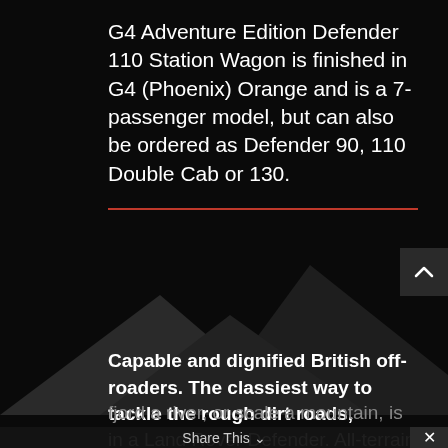G4 Adventure Edition Defender 110 Station Wagon is finished in G4 (Phoenix) Orange and is a 7-passenger model, but can also be ordered as Defender 90, 110 Double Cab or 130.
[Figure (illustration): Dark mountain silhouette graphic with angular peaks against a black background, with a scroll-up button in the upper right corner]
Capable and dignified British off-roaders. The classiest way to tackle the rough dirt roads, fjord a river, or scale a mountain, is in a Land Rover Defender. All-terrain right from the start,
Share This ∨